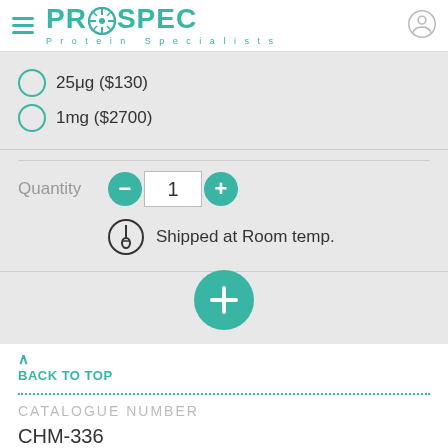[Figure (logo): ProSpec Protein Specialists logo with hamburger menu and user icon]
25μg ($130)
1mg ($2700)
Quantity 1
Shipped at Room temp.
BACK TO TOP
CATALOGUE NUMBER
CHM-336